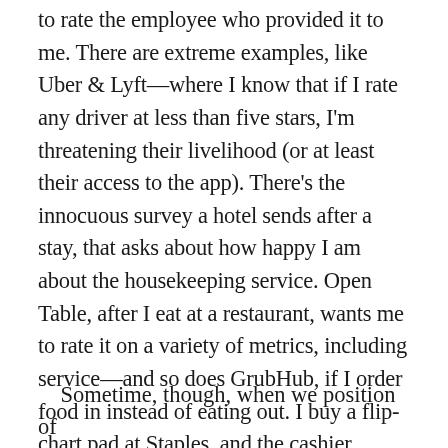to rate the employee who provided it to me. There are extreme examples, like Uber & Lyft—where I know that if I rate any driver at less than five stars, I'm threatening their livelihood (or at least their access to the app). There's the innocuous survey a hotel sends after a stay, that asks about how happy I am about the housekeeping service. Open Table, after I eat at a restaurant, wants me to rate it on a variety of metrics, including service—and so does GrubHub, if I order food in instead of eating out. I buy a flip-chart pad at Staples, and the cashier makes a special point to ask me to do the survey on the receipt, because she's new and needs good ratings.
Sometime, though, when we position of